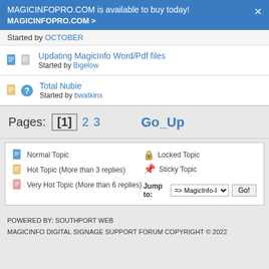MAGICINFOPRO.COM is available to buy today! MAGICINFOPRO.COM >
Started by OCTOBER
Updating MagicInfo Word/Pdf files - Started by Bigelow
Total Nubie - Started by bwatkins
Pages: [1] 2 3   Go_Up
Normal Topic | Hot Topic (More than 3 replies) | Very Hot Topic (More than 6 replies) | Locked Topic | Sticky Topic | Jump to: => MagicInfo-I [Go!]
POWERED BY: SOUTHPORT WEB
MAGICINFO DIGITAL SIGNAGE SUPPORT FORUM COPYRIGHT © 2022